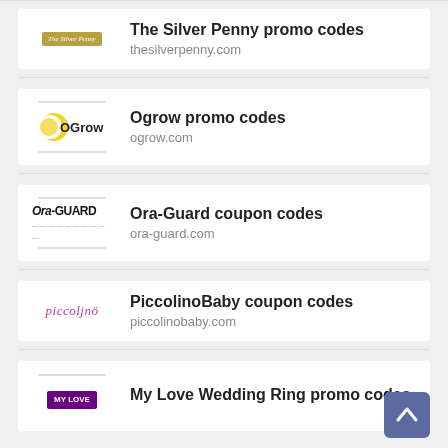The Silver Penny promo codes
thesilverpenny.com
Ogrow promo codes
ogrow.com
Ora-Guard coupon codes
ora-guard.com
PiccolinoBaby coupon codes
piccolinobaby.com
My Love Wedding Ring promo codes